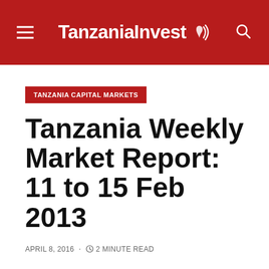TanzaniaInvest
TANZANIA CAPITAL MARKETS
Tanzania Weekly Market Report: 11 to 15 Feb 2013
APRIL 8, 2016 · 2 MINUTE READ